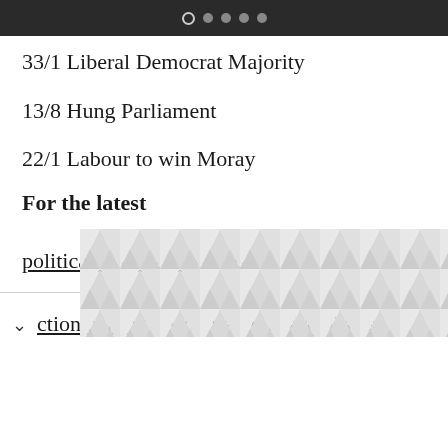● ● ● ● ●
33/1 Liberal Democrat Majority
13/8 Hung Parliament
22/1 Labour to win Moray
For the latest
political betting odds and
ction betting head over to Paddy Power.
[Figure (illustration): Gray geometric triangle pattern placeholder image at bottom of page]